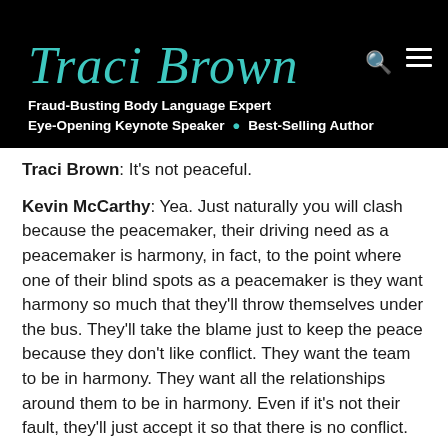[Figure (logo): Traci Brown website header with teal cursive logo on black background, tagline: Fraud-Busting Body Language Expert, Eye-Opening Keynote Speaker • Best-Selling Author]
Traci Brown:  It's not peaceful.
Kevin McCarthy:  Yea.  Just naturally you will clash because the peacemaker, their driving need as a peacemaker is harmony, in fact, to the point where one of their blind spots as a peacemaker is they want harmony so much that they'll throw themselves under the bus.  They'll take the blame just to keep the peace because they don't like conflict.  They want the team to be in harmony.  They want all the relationships around them to be in harmony.  Even if it's not their fault, they'll just accept it so that there is no conflict.
Traci Brown:  Oh boy.
Kevin McCarthy:  That's the blind spot they have to work on as a peacemaker.  But a competitor who is not aware about